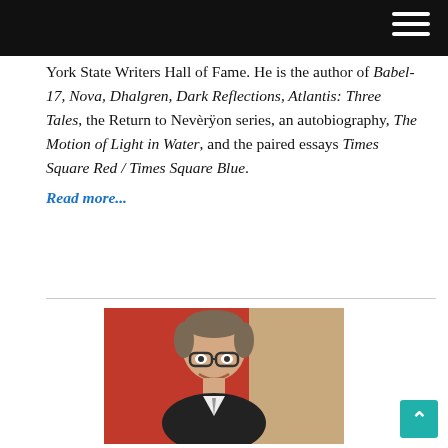York State Writers Hall of Fame. He is the author of Babel-17, Nova, Dhalgren, Dark Reflections, Atlantis: Three Tales, the Return to Nevèrÿon series, an autobiography, The Motion of Light in Water, and the paired essays Times Square Red / Times Square Blue. Read more...
[Figure (photo): A man with glasses leaning to one side, smiling, with a red background on the left and a tan/beige panel on the right.]